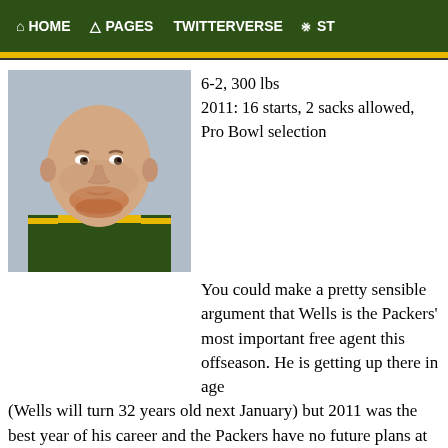HOME   PAGES   TWITTERVERSE   ST
[Figure (photo): Headshot photo of a bald young white male football player wearing a Green Bay Packers yellow and green jersey, with a reddish beard, looking straight at the camera.]
6-2, 300 lbs
2011: 16 starts, 2 sacks allowed, Pro Bowl selection
You could make a pretty sensible argument that Wells is the Packers' most important free agent this offseason. He is getting up there in age (Wells will turn 32 years old next January) but 2011 was the best year of his career and the Packers have no future plans at the center position. Would that make him a viable tag candidate if the two sides were at an impasse in negotiations? It's unlikely. The franchise number for offensive lineman is $9.4 million, and centers are rarely kept at a number that high. The Packers should play their hand on signing Wells to a manageable multi-year deal, and if Wells isn't satisfied, he'll hit the market. But even if he does enter free agency without a new deal, the Packers should eventually get him signed,